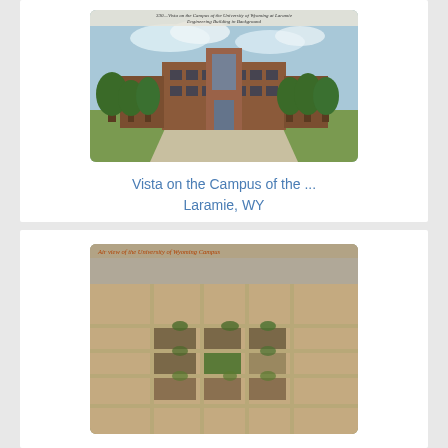[Figure (photo): Vintage postcard photo of the Engineering Building on the Campus of the University of Wyoming at Laramie, showing a large brick Art Deco building with trees and a wide driveway in front.]
Vista on the Campus of the ... Laramie, WY
[Figure (photo): Aerial view of the University of Wyoming Campus, showing campus buildings, fields, and surrounding city blocks from above.]